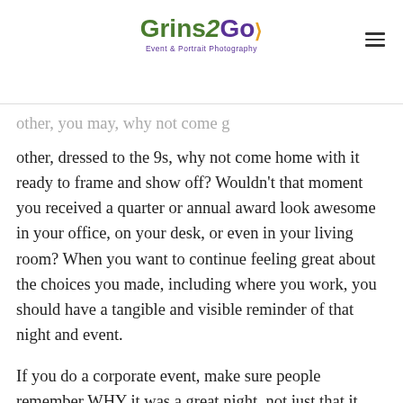Grins2Go — Event & Portrait Photography
other, dressed to the 9s, why not come home with it ready to frame and show off? Wouldn't that moment you received a quarter or annual award look awesome in your office, on your desk, or even in your living room? When you want to continue feeling great about the choices you made, including where you work, you should have a tangible and visible reminder of that night and event.
If you do a corporate event, make sure people remember WHY it was a great night, not just that it happened; help them remember by giving them that instant gratification of a printed picture to help remind them before the event